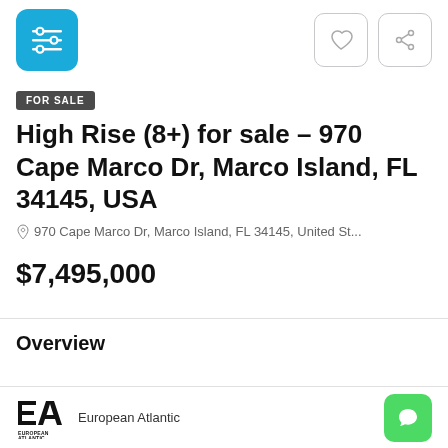[Figure (logo): Blue rounded square icon with a filter/listing icon in white]
[Figure (other): Heart icon button and share icon button in rounded square borders]
FOR SALE
High Rise (8+) for sale – 970 Cape Marco Dr, Marco Island, FL 34145, USA
970 Cape Marco Dr, Marco Island, FL 34145, United St...
$7,495,000
Overview
Condominium, High Rise (8+)
European Atlantic